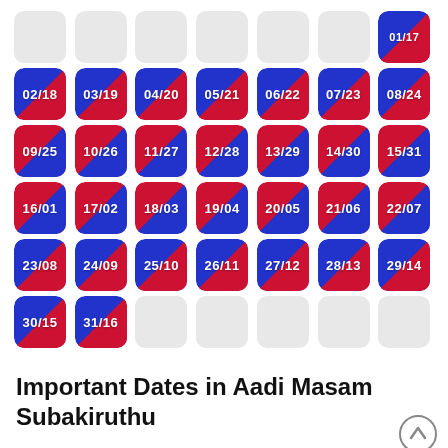[Figure (other): Calendar grid showing Tamil month Aadi Masam Subakiruthu dates. Each cell shows two date numbers (Gregorian/Tamil) on a split blue-red diagonal background. Rows alternate direction of the diagonal. Empty cells shown in light grey.]
Important Dates in Aadi Masam Subakiruthu
18 Aadi Masam Subakiruthu (03.08. 2022) - Aadi Perukku
24 Aadi Masam Subakiruthy (09.08.2022) - Muharram